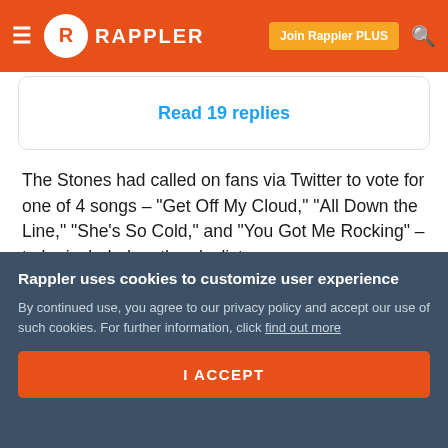Rappler — Join Rappler PLUS
Read 19 replies
The Stones had called on fans via Twitter to vote for one of 4 songs – "Get Off My Cloud," "All Down the Line," "She's So Cold," and "You Got Me Rocking" – to be included on the playlist.
But few in Cuba, where Internet is not widely available, would have been able to even see Twitter, let alone vote. –
Rappler uses cookies to customize user experience
By continued use, you agree to our privacy policy and accept our use of such cookies. For further information, click find out more
I ACCEPT